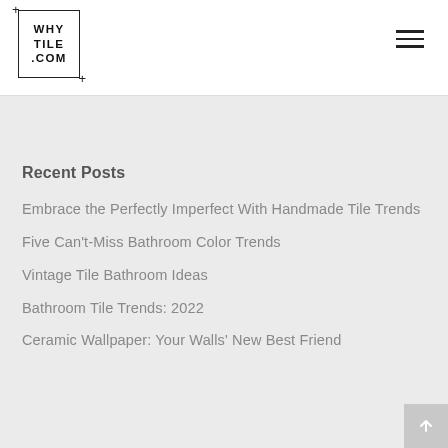[Figure (logo): WHY TILE .COM logo in a rectangular border with plus signs at corners]
Recent Posts
Embrace the Perfectly Imperfect With Handmade Tile Trends
Five Can't-Miss Bathroom Color Trends
Vintage Tile Bathroom Ideas
Bathroom Tile Trends: 2022
Ceramic Wallpaper: Your Walls' New Best Friend